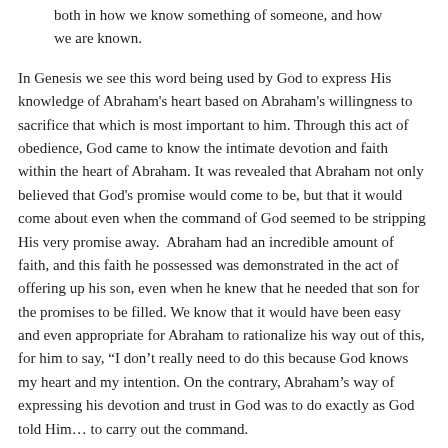both in how we know something of someone, and how we are known.
In Genesis we see this word being used by God to express His knowledge of Abraham's heart based on Abraham's willingness to sacrifice that which is most important to him. Through this act of obedience, God came to know the intimate devotion and faith within the heart of Abraham. It was revealed that Abraham not only believed that God's promise would come to be, but that it would come about even when the command of God seemed to be stripping His very promise away.  Abraham had an incredible amount of faith, and this faith he possessed was demonstrated in the act of offering up his son, even when he knew that he needed that son for the promises to be filled. We know that it would have been easy and even appropriate for Abraham to rationalize his way out of this, for him to say, “I don’t really need to do this because God knows my heart and my intention. On the contrary, Abraham’s way of expressing his devotion and trust in God was to do exactly as God told Him… to carry out the command.
Sure, because God knows everything—even the depths of our hearts, and every action we will perform—He could have said to Abraham, “I know that you love Me and believe My promises, so I